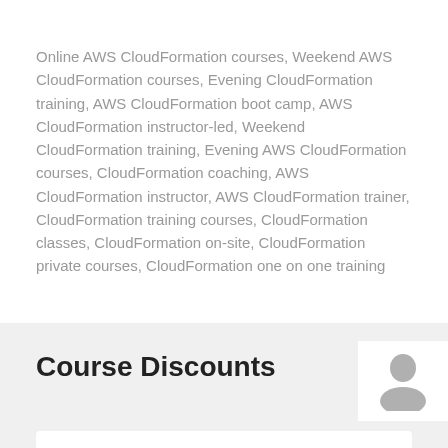Online AWS CloudFormation courses, Weekend AWS CloudFormation courses, Evening CloudFormation training, AWS CloudFormation boot camp, AWS CloudFormation instructor-led, Weekend CloudFormation training, Evening AWS CloudFormation courses, CloudFormation coaching, AWS CloudFormation instructor, AWS CloudFormation trainer, CloudFormation training courses, CloudFormation classes, CloudFormation on-site, CloudFormation private courses, CloudFormation one on one training
Course Discounts
[Figure (illustration): Generic user/person icon in grey]
Matlab for Finance